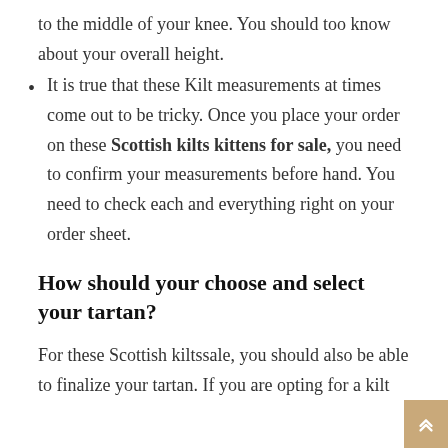to the middle of your knee. You should too know about your overall height.
It is true that these Kilt measurements at times come out to be tricky. Once you place your order on these Scottish kilts kittens for sale, you need to confirm your measurements before hand. You need to check each and everything right on your order sheet.
How should your choose and select your tartan?
For these Scottish kiltssale, you should also be able to finalize your tartan. If you are opting for a kilt